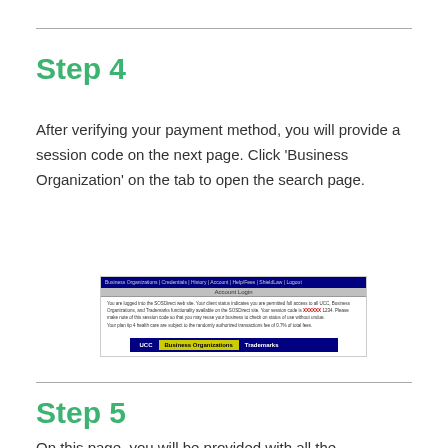Step 4
After verifying your payment method, you will provide a session code on the next page. Click ‘Business Organization’ on the tab to open the search page.
[Figure (screenshot): Screenshot of a web portal page showing a navigation bar with 'Business Organizations', 'Credentials', 'History', 'Account', 'Help/Fees', 'ShieldLaw', 'Logout' tabs, a title bar reading 'Account Login', body text describing session access, and a tab bar at the bottom showing 'UCC', 'Business Organizations' (highlighted in yellow), and 'Trademarks'.]
Step 5
On this page, you will be provided with all the